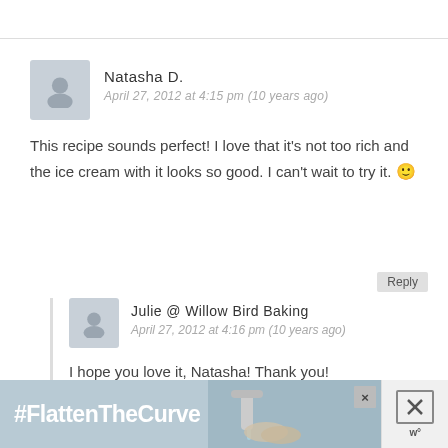Natasha D.
April 27, 2012 at 4:15 pm (10 years ago)
This recipe sounds perfect! I love that it's not too rich and the ice cream with it looks so good. I can't wait to try it. 🙂
Reply
Julie @ Willow Bird Baking
April 27, 2012 at 4:16 pm (10 years ago)
I hope you love it, Natasha! Thank you!
Reply
[Figure (infographic): #FlattenTheCurve advertisement banner with hand washing image]